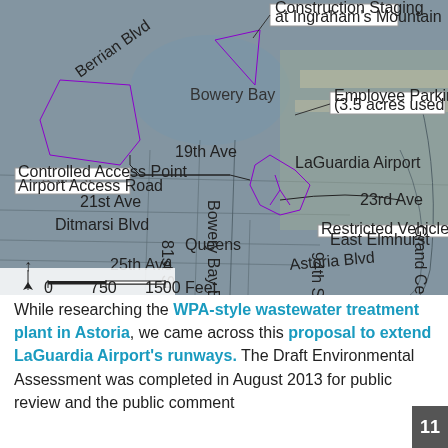[Figure (map): Aerial map of LaGuardia Airport and surrounding Queens/Astoria area showing construction staging areas, controlled access points, airport access road, employee parking lot 10E, restricted vehicle service road, and purple outlined areas indicating proposed runway extension zones. Labels include: Construction Staging at Ingraham's Mountain, Bowery Bay, Ditmarsi Steinway, Employee Parking Lot 10E (3.5 acres used for construction staging), LaGuardia Airport, Controlled Access Point, Airport Access Road, 21st Ave, Ditmarsi Blvd, Queens, East Elmhurst, 23rd Ave, Restricted Vehicle Service Road, Astoria Blvd, 25th Ave, 19th Ave, Berrian Blvd, 45th St, 81st St, Bowery Bay Blvd, 94th St, Grand Central Pkwy. Scale bar shows 0, 750, 1500 Feet with north arrow.]
While researching the WPA-style wastewater treatment plant in Astoria, we came across this proposal to extend LaGuardia Airport's runways. The Draft Environmental Assessment was completed in August 2013 for public review and the public comment